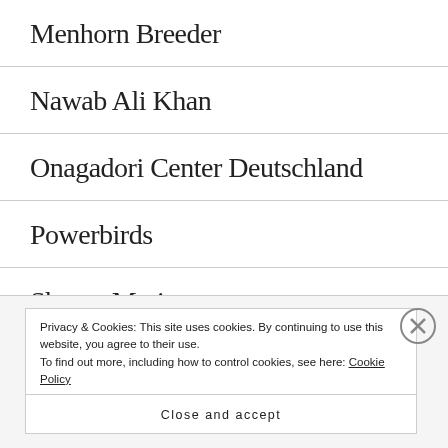Menhorn Breeder
Nawab Ali Khan
Onagadori Center Deutschland
Powerbirds
Shamo Mario
LINKS: FIGHTS
Privacy & Cookies: This site uses cookies. By continuing to use this website, you agree to their use.
To find out more, including how to control cookies, see here: Cookie Policy
Close and accept